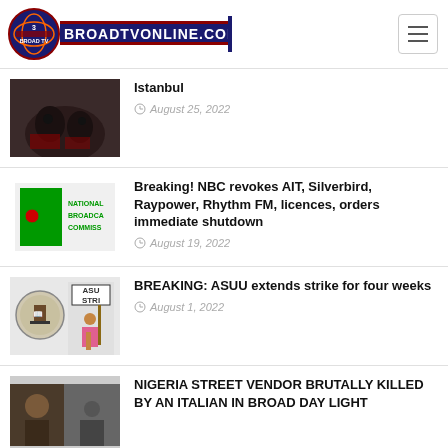BROADTVONLINE.COM
Istanbul — August 25, 2022
Breaking! NBC revokes AIT, Silverbird, Raypower, Rhythm FM, licences, orders immediate shutdown — August 19, 2022
BREAKING: ASUU extends strike for four weeks — August 1, 2022
NIGERIA STREET VENDOR BRUTALLY KILLED BY AN ITALIAN IN BROAD DAY LIGHT